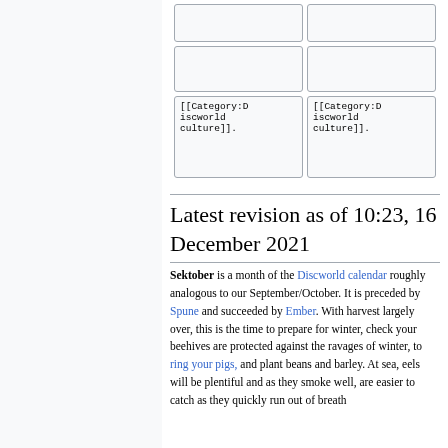|  |  |
|  |  |
| [[Category:Discworld culture]]. | [[Category:Discworld culture]]. |
Latest revision as of 10:23, 16 December 2021
Sektober is a month of the Discworld calendar roughly analogous to our September/October. It is preceded by Spune and succeeded by Ember. With harvest largely over, this is the time to prepare for winter, check your beehives are protected against the ravages of winter, to ring your pigs, and plant beans and barley. At sea, eels will be plentiful and as they smoke well, are easier to catch as they quickly run out of breath